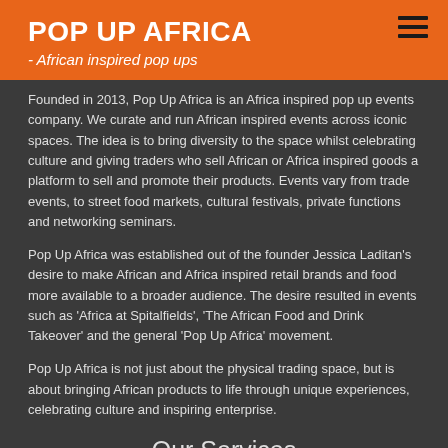POP UP AFRICA
- African inspired pop ups
Founded in 2013, Pop Up Africa is an Africa inspired pop up events company. We curate and run African inspired events across iconic spaces. The idea is to bring diversity to the space whilst celebrating culture and giving traders who sell African or Africa inspired goods a platform to sell and promote their products. Events vary from trade events, to street food markets, cultural festivals, private functions and networking seminars.
Pop Up Africa was established out of the founder Jessica Laditan's desire to make African and Africa inspired retail brands and food more available to a broader audience. The desire resulted in events such as 'Africa at Spitalfields', 'The African Food and Drink Takeover' and the general 'Pop Up Africa' movement.
Pop Up Africa is not just about the physical trading space, but is about bringing African products to life through unique experiences, celebrating culture and inspiring enterprise.
Our Services
Pop Up Africa host a number of events throughout the year that act as a platform for African brands to promote and sell their goods to a wider market. Events range from big scale festivals and markets to